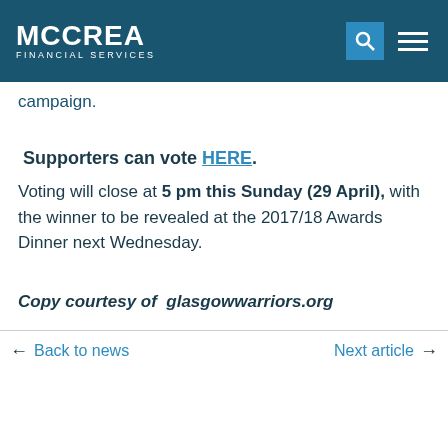MCCREA FINANCIAL SERVICES
campaign.
Supporters can vote HERE.
Voting will close at 5 pm this Sunday (29 April), with the winner to be revealed at the 2017/18 Awards Dinner next Wednesday.
Copy courtesy of  glasgowwarriors.org
← Back to news    Next article →